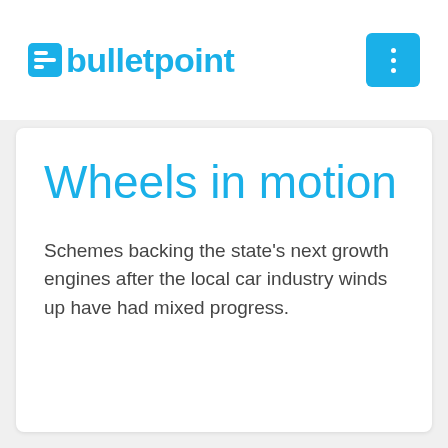bulletpoint
Wheels in motion
Schemes backing the state's next growth engines after the local car industry winds up have had mixed progress.